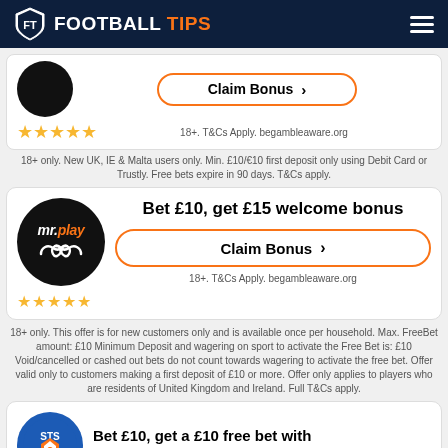FOOTBALL TIPS
[Figure (logo): Partial first betting site card with Claim Bonus button and 5 stars]
18+ only. New UK, IE & Malta users only. Min. £10/€10 first deposit only using Debit Card or Trustly. Free bets expire in 90 days. T&Cs apply.
[Figure (infographic): mr.play betting card - Bet £10, get £15 welcome bonus with Claim Bonus button and 5 stars]
18+. T&Cs Apply. begambleaware.org
18+ only. This offer is for new customers only and is available once per household. Max. FreeBet amount: £10 Minimum Deposit and wagering on sport to activate the Free Bet is: £10 Void/cancelled or cashed out bets do not count towards wagering to activate the free bet. Offer valid only to customers making a first deposit of £10 or more. Offer only applies to players who are residents of United Kingdom and Ireland. Full T&Cs apply.
[Figure (infographic): STS Bet partial card - Bet £10, get a £10 free bet with STS Bet]